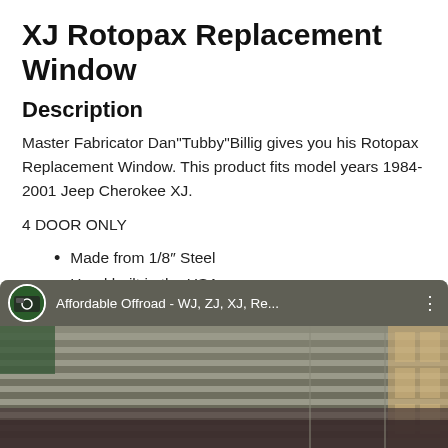XJ Rotopax Replacement Window
Description
Master Fabricator Dan"Tubby"Billig gives you his Rotopax Replacement Window. This product fits model years 1984-2001 Jeep Cherokee XJ.
4 DOOR ONLY
Made from 1/8″ Steel
Hand built in the USA
[Figure (screenshot): YouTube video thumbnail showing a garage with a metal roll-up door. A channel icon and title 'Affordable Offroad - WJ, ZJ, XJ, Re...' are displayed in a dark bar at the top of the thumbnail, with a three-dot menu icon on the right.]